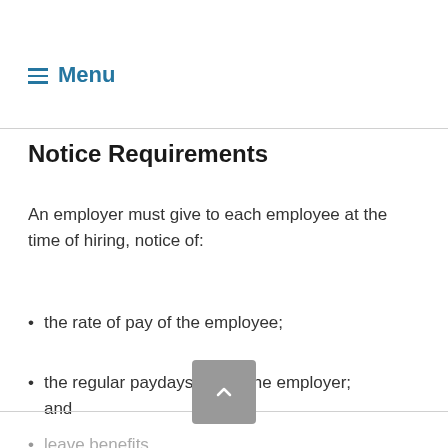≡ Menu
Notice Requirements
An employer must give to each employee at the time of hiring, notice of:
the rate of pay of the employee;
the regular paydays set by the employer; and
leave benefits.